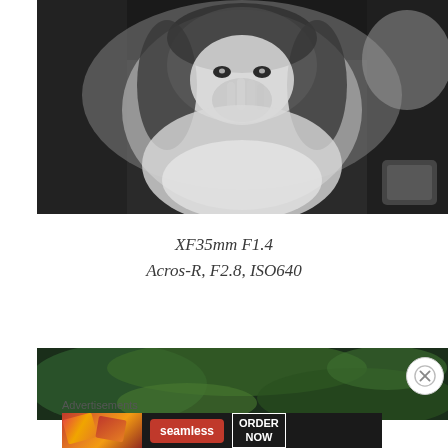[Figure (photo): Black and white photograph of a young Asian girl with short hair covering her mouth with her hand, looking at the camera. Shot from above, she is wearing a white dress. Another child is partially visible in the upper right corner.]
XF35mm F1.4
Acros-R, F2.8, ISO640
[Figure (photo): Partial view of a photo showing green leaves/plants with dark background, appears to be the top of a nature/food photograph.]
Advertisements
[Figure (screenshot): Seamless food delivery advertisement banner showing pizza slices on the left, a red Seamless logo in the center, and an 'ORDER NOW' button on the right, all on a dark background.]